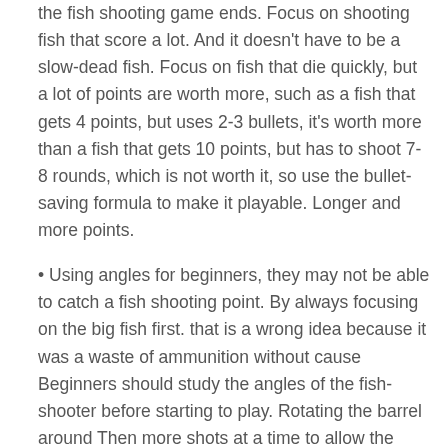the fish shooting game ends. Focus on shooting fish that score a lot. And it doesn't have to be a slow-dead fish. Focus on fish that die quickly, but a lot of points are worth more, such as a fish that gets 4 points, but uses 2-3 bullets, it's worth more than a fish that gets 10 points, but has to shoot 7-8 rounds, which is not worth it, so use the bullet-saving formula to make it playable. Longer and more points.
• Using angles for beginners, they may not be able to catch a fish shooting point. By always focusing on the big fish first. that is a wrong idea because it was a waste of ammunition without cause Beginners should study the angles of the fish-shooter before starting to play. Rotating the barrel around Then more shots at a time to allow the bullets to go in different directions to hit the fish in many ways. That angle will give you points from that fish. And there is a chance that the fish will die easier too.
• To get more the fish, you should deal with water to catch the fish.